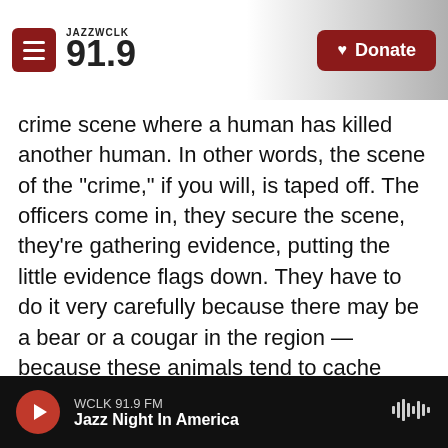JAZZ WCLK 91.9 | Donate
crime scene where a human has killed another human. In other words, the scene of the "crime," if you will, is taped off. The officers come in, they secure the scene, they're gathering evidence, putting the little evidence flags down. They have to do it very carefully because there may be a bear or a cougar in the region — because these animals tend to cache their victim and hang around, and come back and feed again. So [the officers] come in very carefully and well-armed, but they're gathering evidence. And the first thing that they're having to figure out is — and this is not something that cops on CSI would do — the first thing they
WCLK 91.9 FM
Jazz Night In America